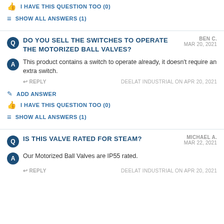I HAVE THIS QUESTION TOO (0)
SHOW ALL ANSWERS (1)
DO YOU SELL THE SWITCHES TO OPERATE THE MOTORIZED BALL VALVES?
BEN C.
MAR 20, 2021
This product contains a switch to operate already, it doesn't require an extra switch.
REPLY   DEELAT INDUSTRIAL ON APR 20, 2021
ADD ANSWER
I HAVE THIS QUESTION TOO (0)
SHOW ALL ANSWERS (1)
IS THIS VALVE RATED FOR STEAM?
MICHAEL A.
MAR 22, 2021
Our Motorized Ball Valves are IP55 rated.
REPLY   DEELAT INDUSTRIAL ON APR 20, 2021